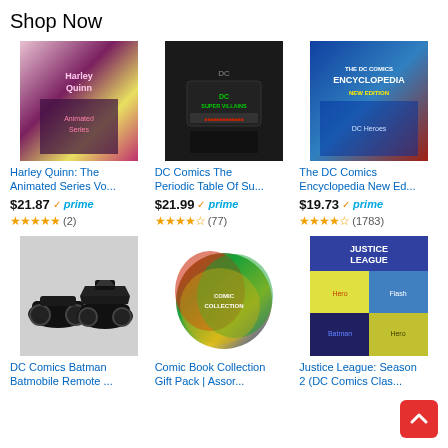Shop Now
[Figure (photo): Harley Quinn: The Animated Series comic book cover]
Harley Quinn: The Animated Series Vo...
$21.87 prime
(2)
[Figure (photo): DC Comics The Periodic Table Of Supervillains black t-shirt]
DC Comics The Periodic Table Of Su...
$21.99 prime
(77)
[Figure (photo): The DC Comics Encyclopedia New Edition book cover]
The DC Comics Encyclopedia New Ed...
$19.73 prime
(1783)
[Figure (photo): DC Comics Batman Batmobile Remote Control toy]
DC Comics Batman Batmobile Remote ...
[Figure (photo): Comic Book Collection Gift Pack assorted comics]
Comic Book Collection Gift Pack | Assor...
[Figure (photo): Justice League Season 2 DC Comics Classic DVD cover]
Justice League: Season 2 (DC Comics Clas...